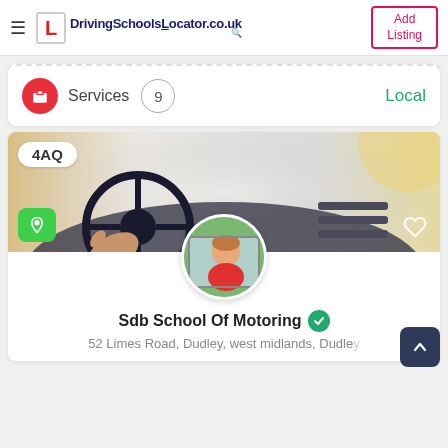DrivingSchoolsLocator.co.uk | Add Listing
Services 9 Local
[Figure (screenshot): Car interior photo showing a hand on a steering wheel, with a badge '4AQ', a green location pin button, and a heart icon overlay]
Sdb School Of Motoring
52 Limes Road, Dudley, west midlands, Dudley